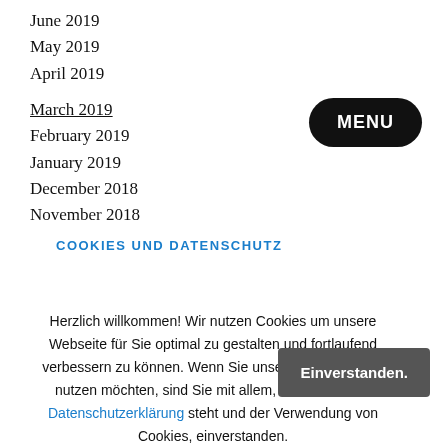June 2019
May 2019
April 2019
March 2019
February 2019
January 2019
December 2018
November 2018
MENU
COOKIES UND DATENSCHUTZ
Herzlich willkommen! Wir nutzen Cookies um unsere Webseite für Sie optimal zu gestalten und fortlaufend verbessern zu können. Wenn Sie unsere Internetseiten nutzen möchten, sind Sie mit allem, was in unserer Datenschutzerklärung steht und der Verwendung von Cookies, einverstanden.
Einverstanden.